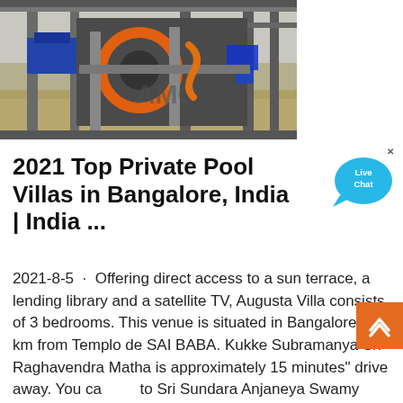[Figure (photo): Industrial machinery or crusher equipment with orange and blue mechanical parts, metal frame structure, outdoors with dry grass in background. AMC logo/watermark visible.]
2021 Top Private Pool Villas in Bangalore, India | India ...
2021-8-5  ·  Offering direct access to a sun terrace, a lending library and a satellite TV, Augusta Villa consists of 3 bedrooms. This venue is situated in Bangalore, 4.5 km from Templo de SAI BABA. Kukke Subramanya Sri Raghavendra Matha is approximately 15 minutes" drive away. You can get to Sri Sundara Anjaneya Swamy Temple in a few minutes by car.